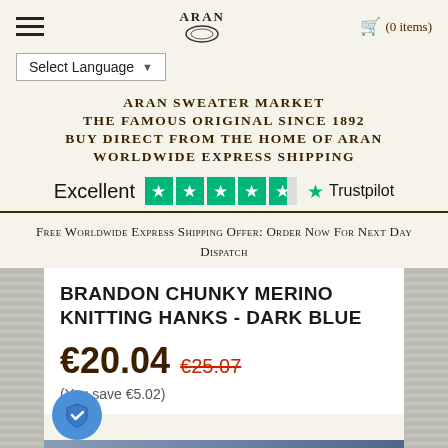ARAN (0 items)
Select Language
ARAN SWEATER MARKET
THE FAMOUS ORIGINAL SINCE 1892
BUY DIRECT FROM THE HOME OF ARAN
WORLDWIDE EXPRESS SHIPPING
[Figure (logo): Trustpilot rating: Excellent 4.5 stars with Trustpilot logo]
Free Worldwide Express Shipping Offer: Order Now For Next Day Dispatch
BRANDON CHUNKY MERINO KNITTING HANKS - DARK BLUE
€20.04 €25.07 (You save €5.02)